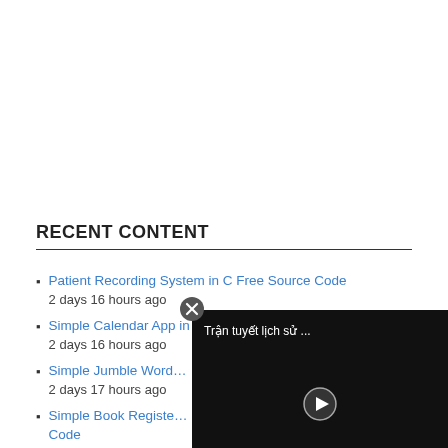RECENT CONTENT
Patient Recording System in C Free Source Code
2 days 16 hours ago
Simple Calendar App in C++ Free Source Code
2 days 16 hours ago
Simple Jumble Word…
2 days 17 hours ago
Simple Book Registe…
3 days 17 hours ago
[Figure (screenshot): Video popup overlay with Vietnamese text 'Trận tuyết lịch sử ...' and a play button on black background, with a close (X) button in the top-left corner of the overlay]